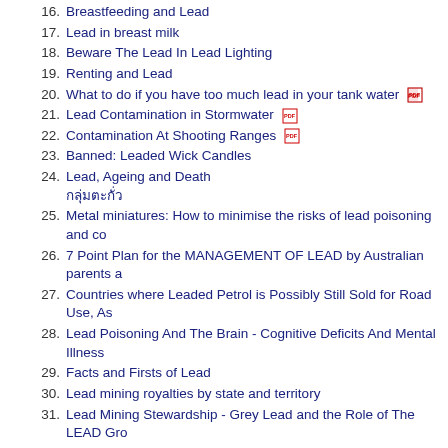16. Breastfeeding and Lead
17. Lead in breast milk
18. Beware The Lead In Lead Lighting
19. Renting and Lead
20. What to do if you have too much lead in your tank water [PDF]
21. Lead Contamination in Stormwater [PDF]
22. Contamination At Shooting Ranges [PDF]
23. Banned: Leaded Wick Candles
24. Lead, Ageing and Death (Thai characters)
25. Metal miniatures: How to minimise the risks of lead poisoning and co…
26. 7 Point Plan for the MANAGEMENT OF LEAD by Australian parents a…
27. Countries where Leaded Petrol is Possibly Still Sold for Road Use, As…
28. Lead Poisoning And The Brain - Cognitive Deficits And Mental Illness…
29. Facts and Firsts of Lead
30. Lead mining royalties by state and territory
31. Lead Mining Stewardship - Grey Lead and the Role of The LEAD Gro…
32. Preventative Strategies of The LEAD Group
33. What do Doctors need to do about Lead?
34. A Naturopath's Experience Of Lead & People With Diagnosed Mental…
35. Case File: Helping Manage Australian Lead in Petrol - How GLASS W…
36. Glass Web & Service-Users, Experts & Volunteers, by Country; Coun…
37. Lead in ceiling dust
38. Lead paint & ceiling dust management - how to do it lead-safely
39. Esperance parliamentary inquiry follow-up factsheet: Where to from H… (Thai characters)
40. Broken Hill lead miners factsheet 1893 with Note 20081015
41. Helping a Doctor Help 35,000 Lead-Poisoned People Around the Lea… / Ayuda a un doctor que ayuda 35,000 personas envenenadas por plo…